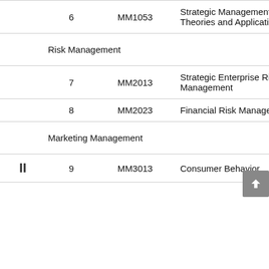| No. | No. | Course Code | Course Name |
| --- | --- | --- | --- |
|  | 6 | MM1053 | Strategic Management Theories and Applications |
| Risk Management |  |  |  |
|  | 7 | MM2013 | Strategic Enterprise Risk Management |
|  | 8 | MM2023 | Financial Risk Management |
| Marketing Management |  |  |  |
| II | 9 | MM3013 | Consumer Behavior |